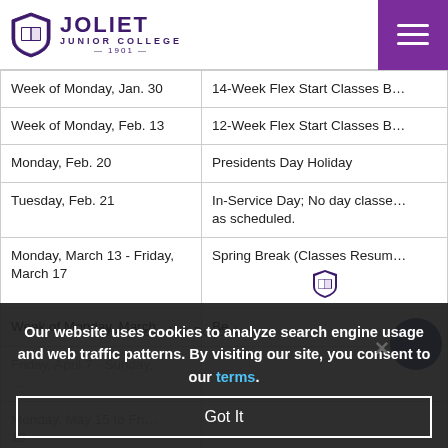[Figure (logo): Joliet Junior College logo with shield and text]
| Date | Event |
| --- | --- |
| Week of Monday, Jan. 30 | 14-Week Flex Start Classes B… |
| Week of Monday, Feb. 13 | 12-Week Flex Start Classes B… |
| Monday, Feb. 20 | Presidents Day Holiday |
| Tuesday, Feb. 21 | In-Service Day; No day classe… as scheduled. |
| Monday, March 13 - Friday, March 17 | Spring Break (Classes Resum… |
| Week of Monday, March … | Be… |
| Friday, April 7 - Sunday, … |  |
| Monday, May 15 to Fri… 19 |  |
| Friday, May 19 | Commencement |
Our website uses cookies to analyze search engine usage and web traffic patterns. By visiting our site, you consent to our terms.
Got It